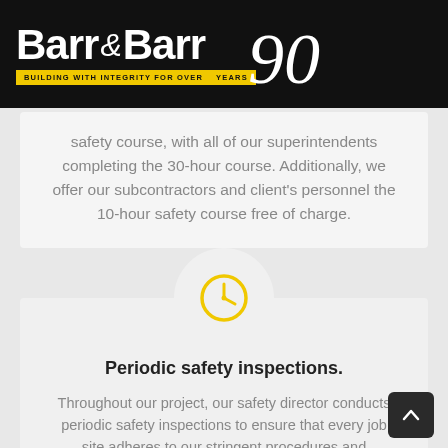[Figure (logo): Barr & Barr company logo on black background, white bold text reading 'Barr & Barr' with italic ampersand, yellow banner reading 'BUILDING WITH INTEGRITY FOR OVER 90 YEARS' with stylized italic '90' numeral]
safety course, with all of our superintendents completing the 30-hour course. Additionally, we offer our subcontractors and client's personnel the 10-hour safety course free of charge.
[Figure (illustration): Gold/yellow clock icon inside a light gray circle]
Periodic safety inspections.
Throughout our project, our safety director conducts periodic safety inspections to ensure that every job site adheres to our stringent procedures and guidelines